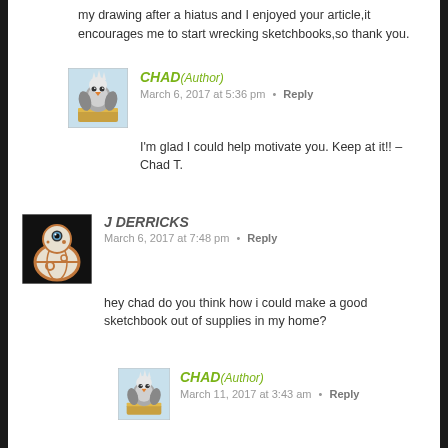my drawing after a hiatus and I enjoyed your article,it encourages me to start wrecking sketchbooks,so thank you.
[Figure (illustration): Avatar image of Chad - cartoon bird character on a box]
CHAD (Author)
March 6, 2017 at 5:36 pm • Reply
I'm glad I could help motivate you. Keep at it!! – Chad T.
[Figure (photo): Avatar image of J Derricks - BB-8 droid from Star Wars]
J DERRICKS
March 6, 2017 at 7:48 pm • Reply
hey chad do you think how i could make a good sketchbook out of supplies in my home?
[Figure (illustration): Avatar image of Chad - cartoon bird character on a box]
CHAD (Author)
March 11, 2017 at 3:43 am • Reply